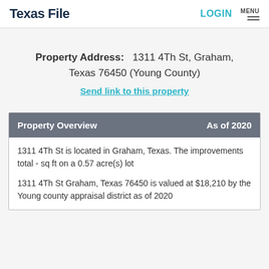Texas File | LOGIN | MENU
Property Address: 1311 4Th St, Graham, Texas 76450 (Young County)
Send link to this property
| Property Overview | As of 2020 |
| --- | --- |
| 1311 4Th St is located in Graham, Texas. The improvements total - sq ft on a 0.57 acre(s) lot

1311 4Th St Graham, Texas 76450 is valued at $18,210 by the Young county appraisal district as of 2020 |  |